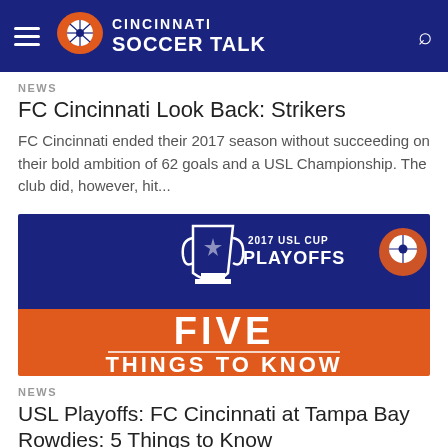Cincinnati Soccer Talk
NEWS
FC Cincinnati Look Back: Strikers
FC Cincinnati ended their 2017 season without succeeding on their bold ambition of 62 goals and a USL Championship. The club did, however, hit...
[Figure (illustration): 2017 USL Cup Playoffs promotional banner with a trophy graphic on blue background and 'FIVE THINGS TO KNOW' text on orange background]
NEWS
USL Playoffs: FC Cincinnati at Tampa Bay Rowdies: 5 Things to Know
FC Cincinnati travels to Al Lang Stadium in St. Petersburg, FL to